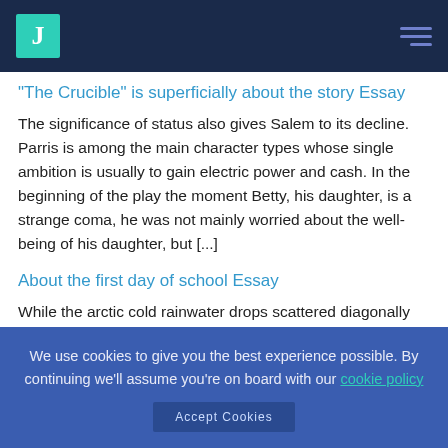"The Crucible" is superficially about the story Essay
The significance of status also gives Salem to its decline. Parris is among the main character types whose single ambition is usually to gain electric power and cash. In the beginning of the play the moment Betty, his daughter, is a strange coma, he was not mainly worried about the well-being of his daughter, but [...]
About the first day of school Essay
While the arctic cold rainwater drops scattered diagonally with my loose, flowing blonde hair, We splashed down the street to the bus stop. Though it was showery and very moist, I was cheerful about my upcoming working day, the atmosphere were cozy and darker grey, and there was an excellent scent
We use cookies to give you the best experience possible. By continuing we'll assume you're on board with our cookie policy
Accept Cookies